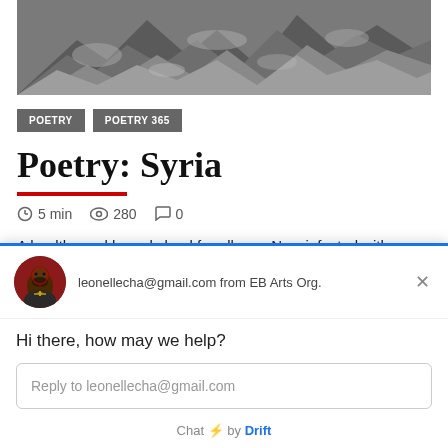[Figure (photo): Aerial photo of rubble and destroyed ruins, gray rocky debris]
POETRY
POETRY 365
Poetry: Syria
5 min  280  0
A healthy and homely land for all race Now infected with dly diseases Of war,killings,rhythm of guns and bombs
[Figure (screenshot): Chat widget overlay from Drift showing avatar of a man, email leonellecha@gmail.com from EB Arts Org., greeting 'Hi there, how may we help?', reply input field, and 'Chat by Drift' footer]